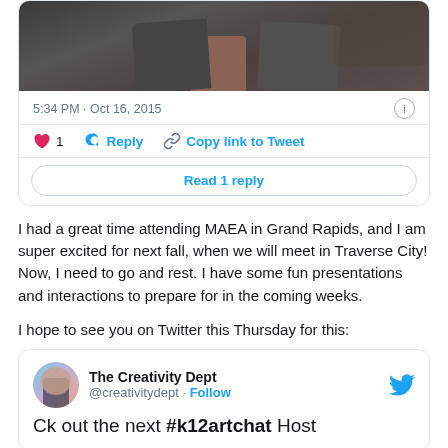[Figure (screenshot): Cropped Twitter/X post screenshot showing a photo of two people and tweet interaction buttons: 5:34 PM · Oct 16, 2015, like (1), Reply, Copy link to Tweet, and Read 1 reply button.]
I had a great time attending MAEA in Grand Rapids, and I am super excited for next fall, when we will meet in Traverse City! Now, I need to go and rest. I have some fun presentations and interactions to prepare for in the coming weeks.
I hope to see you on Twitter this Thursday for this:
[Figure (screenshot): Embedded tweet card from The Creativity Dept (@creativitydept) with Follow button and Twitter bird icon. Tweet text begins: 'Ck out the next #k12artchat Host']